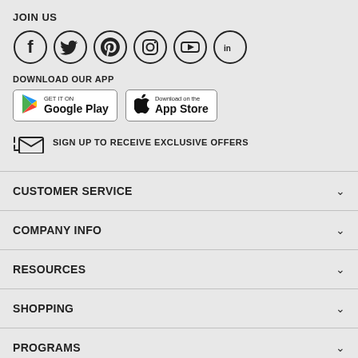JOIN US
[Figure (illustration): Social media icons: Facebook, Twitter, Pinterest, Instagram, YouTube, LinkedIn]
DOWNLOAD OUR APP
[Figure (illustration): Google Play and App Store download buttons]
SIGN UP TO RECEIVE EXCLUSIVE OFFERS
CUSTOMER SERVICE
COMPANY INFO
RESOURCES
SHOPPING
PROGRAMS
Terms of Use
Privacy Policy
Accessibility